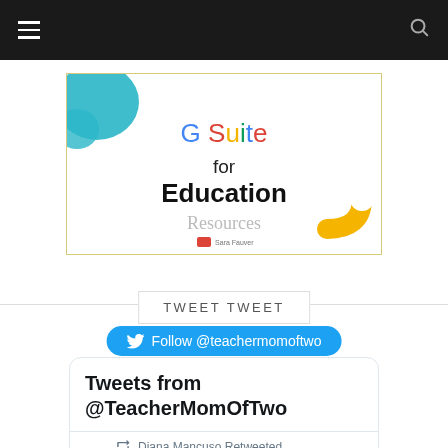Navigation bar with hamburger menu and search icon
[Figure (illustration): G Suite for Education Resources banner with colorful circles and Google branding]
TWEET TWEET
Follow @teachermomoftwo
[Figure (screenshot): Tweets from @TeacherMomOfTwo Twitter widget showing Diana Mancuso Retweeted and Canada Lea... with verified badge]
Tweets from @TeacherMomOfTwo
Diana Mancuso Retweeted
Canada Lea...